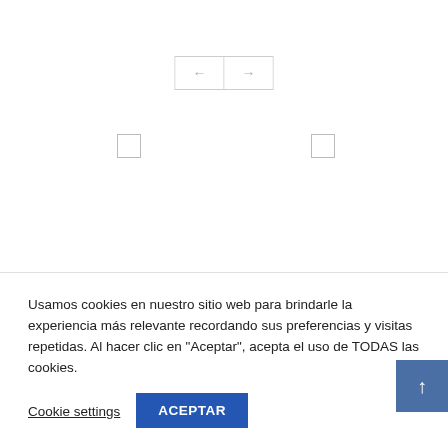[Figure (screenshot): Navigation previous/next buttons (arrows left and right) in a bordered box, and two empty checkboxes positioned left and right of center on a white background]
Usamos cookies en nuestro sitio web para brindarle la experiencia más relevante recordando sus preferencias y visitas repetidas. Al hacer clic en "Aceptar", acepta el uso de TODAS las cookies.
Cookie settings
ACEPTAR